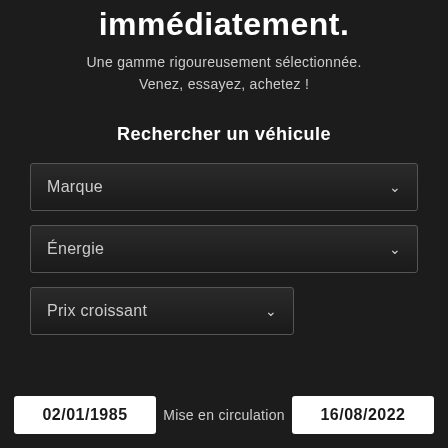immédiatement.
Une gamme rigoureusement sélectionnée.
Venez, essayez, achetez !
Rechercher un véhicule
Marque
Énergie
Prix croissant
02/01/1985
Mise en circulation
16/08/2022